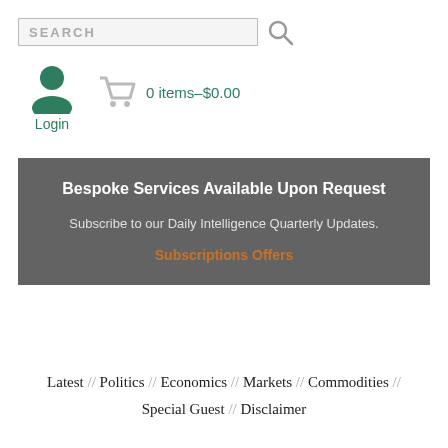[Figure (screenshot): Search bar input with magnifier icon]
[Figure (screenshot): User/login icon (person silhouette) with Login text and cart icon showing 0 items–$0.00]
Bespoke Services Available Upon Request

Subscribe to our Daily Intelligence Quarterly Updates.

Subscriptions Offers
Latest // Politics // Economics // Markets // Commodities //

Special Guest // Disclaimer